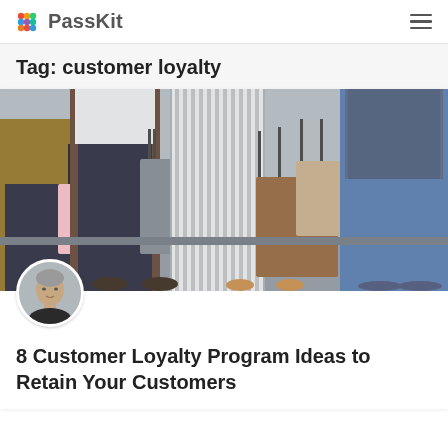PassKit
Tag: customer loyalty
[Figure (photo): Group of people standing and holding shopping bags of various sizes and colors]
[Figure (photo): Circular avatar photo of a middle-aged man with short grey hair wearing a dark jacket]
8 Customer Loyalty Program Ideas to Retain Your Customers